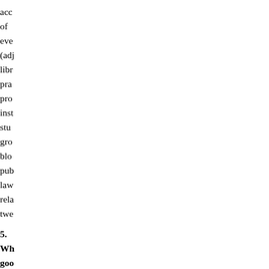acc of eve (adj libr pra pro inst stu gro blo pub law rela twe
5. Wh goo is this info
Not Ti